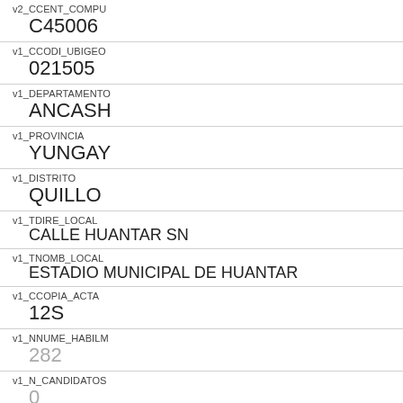| Field | Value |
| --- | --- |
| v2_CCENT_COMPU | C45006 |
| v1_CCODI_UBIGEO | 021505 |
| v1_DEPARTAMENTO | ANCASH |
| v1_PROVINCIA | YUNGAY |
| v1_DISTRITO | QUILLO |
| v1_TDIRE_LOCAL | CALLE HUANTAR SN |
| v1_TNOMB_LOCAL | ESTADIO MUNICIPAL DE HUANTAR |
| v1_CCOPIA_ACTA | 12S |
| v1_NNUME_HABILM | 282 |
| v1_N_CANDIDATOS | 0 |